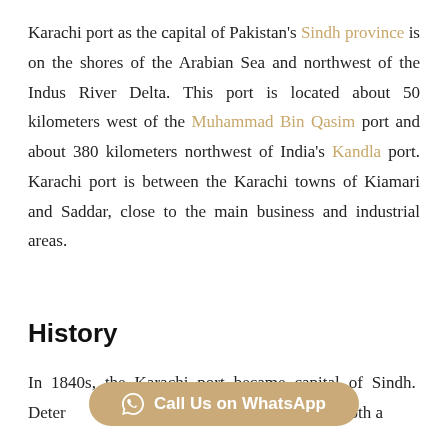Karachi port as the capital of Pakistan's Sindh province is on the shores of the Arabian Sea and northwest of the Indus River Delta. This port is located about 50 kilometers west of the Muhammad Bin Qasim port and about 380 kilometers northwest of India's Kandla port. Karachi port is between the Karachi towns of Kiamari and Saddar, close to the main business and industrial areas.
History
In 1840s, the Karachi port became capital of Sindh. Deter... importance of Karachi port as both a
[Figure (other): WhatsApp call button overlay at bottom of page]